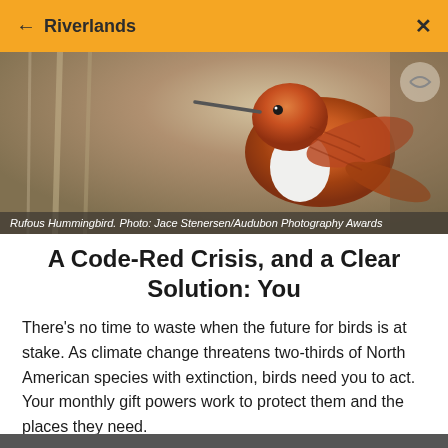← Riverlands ×
[Figure (photo): Close-up photo of a Rufous Hummingbird with orange-red plumage and white breast, perched against a soft blurred background]
Rufous Hummingbird. Photo: Jace Stenersen/Audubon Photography Awards
A Code-Red Crisis, and a Clear Solution: You
There's no time to waste when the future for birds is at stake. As climate change threatens two-thirds of North American species with extinction, birds need you to act. Your monthly gift powers work to protect them and the places they need.
Donate Now